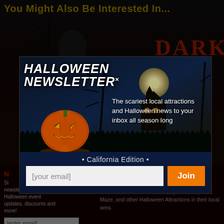You Might Also Be Interested In...
[Figure (screenshot): Dark Halloween themed website background with 'DARK' text visible in top right]
HALLOWEEN NEWSLETTER
The scariest local attractions and Halloween news to your inbox all season long
• California Edition •
[your email]
Join
Sign up for our newsletter and receive Halloween event updates, discounts and more!
[enter email]
is a simple and unique online haunted event & attraction resource created to make it easy for locals to find Haunted House, Spook Walk, Corn Maze, and other Halloween Attractions in their local area.